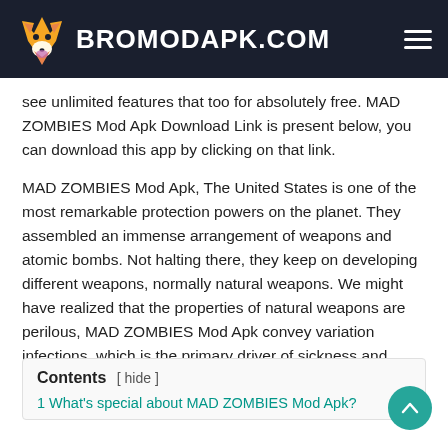BROMODAPK.COM
see unlimited features that too for absolutely free. MAD ZOMBIES Mod Apk Download Link is present below, you can download this app by clicking on that link.
MAD ZOMBIES Mod Apk, The United States is one of the most remarkable protection powers on the planet. They assembled an immense arrangement of weapons and atomic bombs. Not halting there, they keep on developing different weapons, normally natural weapons. We might have realized that the properties of natural weapons are perilous, MAD ZOMBIES Mod Apk convey variation infections, which is the primary driver of sickness and human change.
Contents [ hide ]
1 What's special about MAD ZOMBIES Mod Apk?